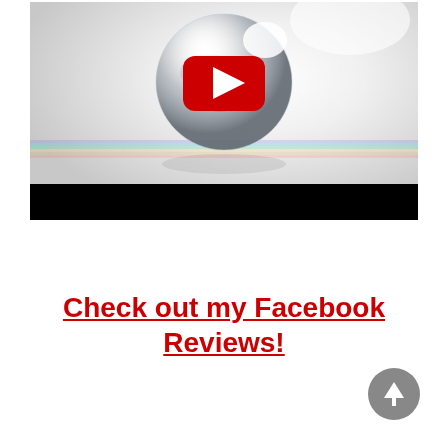[Figure (screenshot): YouTube video thumbnail showing a reflective glass sphere on a light gray background with a red YouTube play button overlay, and a black bar at the bottom]
Check out my Facebook Reviews!
[Figure (other): Gray circular back-to-top button with an upward arrow icon]